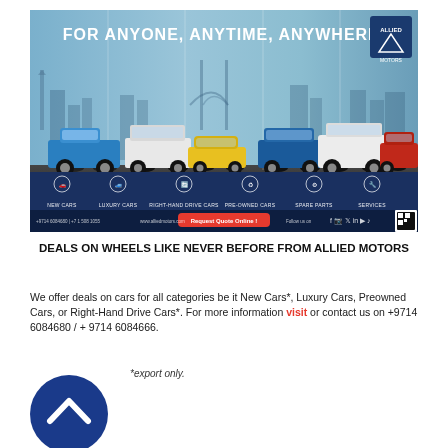[Figure (illustration): Allied Motors advertisement banner showing multiple cars (blue pickup truck, white SUV, yellow sports car, blue SUV, white SUV, red SUV) with city skylines including NYC, London Bridge, and others. Text reads 'FOR ANYONE, ANYTIME, ANYWHERE.' with Allied Motors logo, category icons (New Cars, Luxury Cars, Right-Hand Drive Cars, Pre-Owned Cars, Spare Parts, Services), a 'Request Quote Online!' button, social media icons, and a QR code.]
DEALS ON WHEELS LIKE NEVER BEFORE FROM ALLIED MOTORS
We offer deals on cars for all categories be it New Cars*, Luxury Cars, Preowned Cars, or Right-Hand Drive Cars*. For more information visit or contact us on +9714 6084680 / + 9714 6084666.
*export only.
[Figure (illustration): Dark blue circle with white upward chevron/arrow icon]